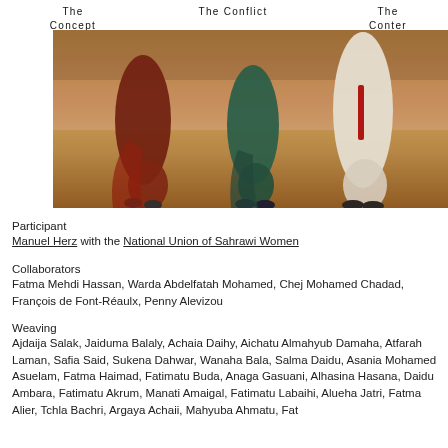The Concept   The Conflict   The Conter
[Figure (photo): Photograph showing three people walking on sandy ground, wearing robes — one in dark red/maroon, one in dark teal/green, one in white — with only the lower halves of their bodies visible from approximately waist down.]
Participant
Manuel Herz  with the National Union of Sahrawi Women
Collaborators
Fatma Mehdi Hassan, Warda Abdelfatah Mohamed, Chej Mohamed Chadad, François de Font-Réaulx, Penny Alevizou
Weaving
Ajdaija Salak, Jaiduma Balaly, Achaia Daihy, Aichatu Almahyub Damaha, Atfarah Laman, Safia Said, Sukena Dahwar, Wanaha Bala, Salma Daidu, Asania Mohamed Asuelam, Fatma Haimad, Fatimatu Buda, Anaga Gasuani, Alhasina Hasana, Daidu Ambara, Fatimatu Akrum, Manati Amaigal, Fatimatu Labaihi, Alueha Jatri, Fatma Alier, Tchla Bachri, Argaya Achaii, Mahyuba Ahmatu, Fat...